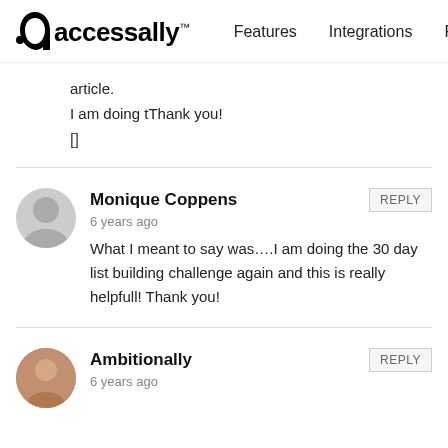accessally™  Features  Integrations  Pricing
article.
I am doing tThank you!
[]
Monique Coppens
6 years ago
What I meant to say was....I am doing the 30 day list building challenge again and this is really helpfull! Thank you!
Ambitionally
6 years ago